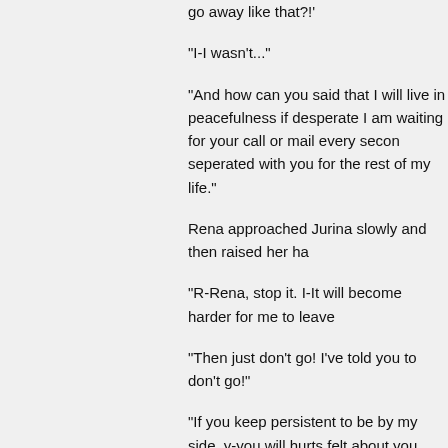go away like that?!'
“I-I wasn't...”
“And how can you said that I will live in peacefulness if desperate I am waiting for your call or mail every secon seperated with you for the rest of my life.”
Rena approached Jurina slowly and then raised her ha
“R-Rena, stop it. I-It will become harder for me to leave
“Then just don't go! I’ve told you to don't go!”
“If you keep persistent to be by my side, y-you will hurts felt about you. Something... special. B-But then, I realiz
Rena suddenly sealed Jurina’s lips with hers. There’s n replied it or pushed her away, then what she felt now is
‘Jurina, you love me, right? So please, kiss me.’
Not long after that, Jurina kissed her. It's a pure kiss. N
“Sisters wouldn’t do what we just done, Jurina.”
“Then all these time, I really love you. I’m sorry Rena, it
“No, don't say sorry. It’s fine, love takes time, and I don